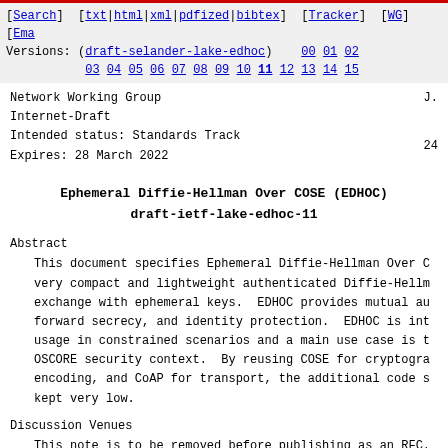[Search] [txt|html|xml|pdfized|bibtex] [Tracker] [WG] [Ema Versions: (draft-selander-lake-edhoc) 00 01 02 03 04 05 06 07 08 09 10 11 12 13 14 15
Network Working Group
Internet-Draft                                          J.
Intended status: Standards Track
Expires: 28 March 2022

                                                               24
Ephemeral Diffie-Hellman Over COSE (EDHOC)
draft-ietf-lake-edhoc-11
Abstract
This document specifies Ephemeral Diffie-Hellman Over C very compact and lightweight authenticated Diffie-Hellm exchange with ephemeral keys.  EDHOC provides mutual au forward secrecy, and identity protection.  EDHOC is int usage in constrained scenarios and a main use case is t OSCORE security context.  By reusing COSE for cryptogra encoding, and CoAP for transport, the additional code s kept very low.
Discussion Venues
This note is to be removed before publishing as an RFC.